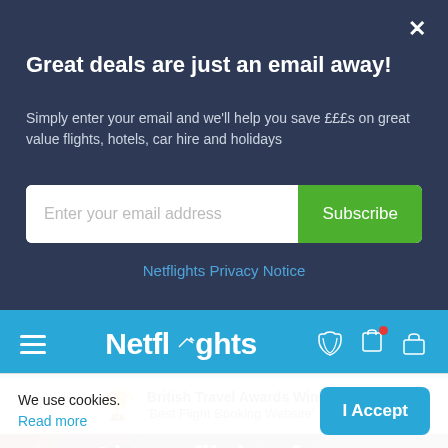Great deals are just an email away!
Simply enter your email and we'll help you save £££s on great value flights, hotels, car hire and holidays
Enter your email address
Subscribe
Netflights Privacy Notice
[Figure (screenshot): Netflights website navigation bar with hamburger menu, Netflights logo, phone icon with red dot, and bag icon on blue background]
British Travel Awards Winners 'Best Flight Booking Website'
Cheap flights from Manchester to Seoul
We use cookies.
Read more
I Accept